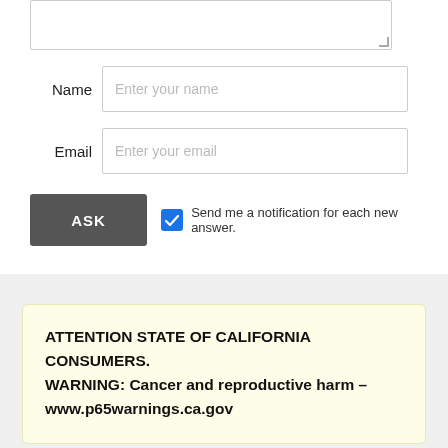[Figure (screenshot): Textarea input field (partially visible at top, with resize handle)]
Name
Enter your name
Email
Enter your email
ASK
Send me a notification for each new answer.
ATTENTION STATE OF CALIFORNIA CONSUMERS. WARNING: Cancer and reproductive harm – www.p65warnings.ca.gov